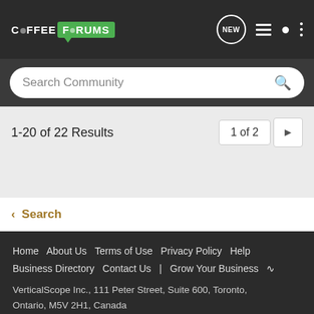COFFEE FORUMS
Search Community
1-20 of 22 Results
1 of 2
< Search
Home  About Us  Terms of Use  Privacy Policy  Help  Business Directory  Contact Us  |  Grow Your Business
VerticalScope Inc., 111 Peter Street, Suite 600, Toronto, Ontario, M5V 2H1, Canada
The Fora platform includes forum software by XenForo